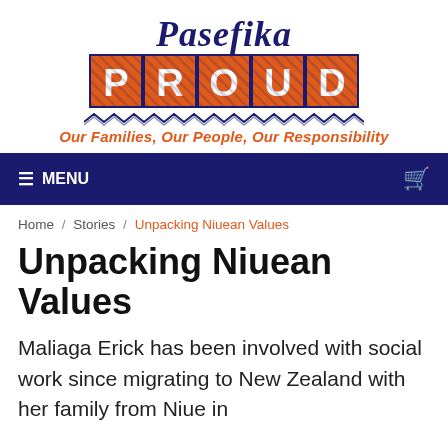[Figure (logo): Pasefika Proud logo with stylized orange PROUD letters with Polynesian pattern overlay, dark navy script 'Pasefika' above, zigzag decorative band below, and orange tagline 'Our Families, Our People, Our Responsibility']
≡ MENU
Home / Stories / Unpacking Niuean Values
Unpacking Niuean Values
Maliaga Erick has been involved with social work since migrating to New Zealand with her family from Niue in